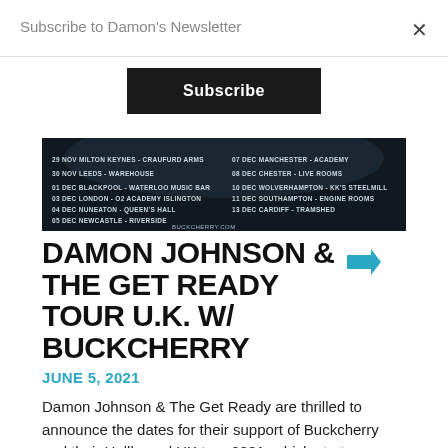Subscribe to Damon's Newsletter
×
Subscribe
[Figure (photo): Dark tour poster for Buckcherry Hellbound UK tour listing dates: 29 Nov Milton Keynes - Craufurd Arms, 30 Nov Leeds - Warehouse, 01 Dec Blackpool - Waterloo Music Bar, 03 Dec London - O2 Academy Islington, 04 Dec Nuneaton - Queen's Hall, 05 Dec Newcastle - Riverside, 07 Dec Manchester - Academy, 08 Dec Chester - Live Rooms, 10 Dec Wolverhampton - KK's Steelmill, 11 Dec Southampton - Engine Rooms, 13 Dec Cardiff - Tramshed. buckcherry.com]
DAMON JOHNSON & THE GET READY TOUR U.K. W/ BUCKCHERRY
JUNE 5, 2021
Damon Johnson & The Get Ready are thrilled to announce the dates for their support of Buckcherry and their Hellbound UK tour 2021, which starts